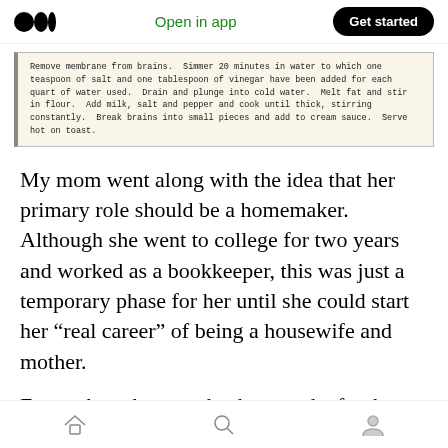Open in app | Get started
[Figure (screenshot): Scanned recipe text in monospace font on aged paper background: 'Remove membrane from brains. Simmer 20 minutes in water to which one teaspoon of salt and one tablespoon of vinegar have been added for each quart of water used. Drain and plunge into cold water. Melt fat and stir in flour. Add milk, salt and pepper and cook until thick, stirring constantly. Break brains into small pieces and add to cream sauce. Serve hot on toast.']
My mom went along with the idea that her primary role should be a homemaker. Although she went to college for two years and worked as a bookkeeper, this was just a temporary phase for her until she could start her “real career” of being a housewife and mother.
Even when she went back to work after her divorce in 1973, women still had limited and
Home | Search | Profile